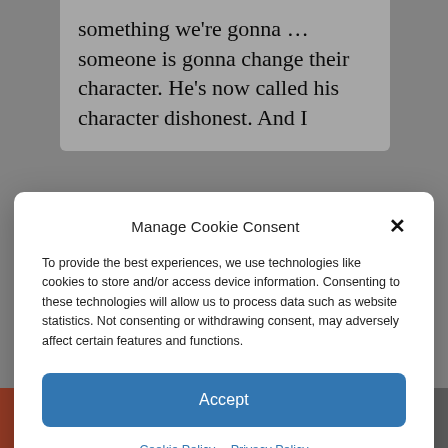something we’re gonna … someone is gonna change their character. He’s now called his character dishonest. And I
Manage Cookie Consent
To provide the best experiences, we use technologies like cookies to store and/or access device information. Consenting to these technologies will allow us to process data such as website statistics. Not consenting or withdrawing consent, may adversely affect certain features and functions.
Accept
Cookie Policy   Privacy Policy
Mitt Romney
+ f [twitter] [share] [mail]